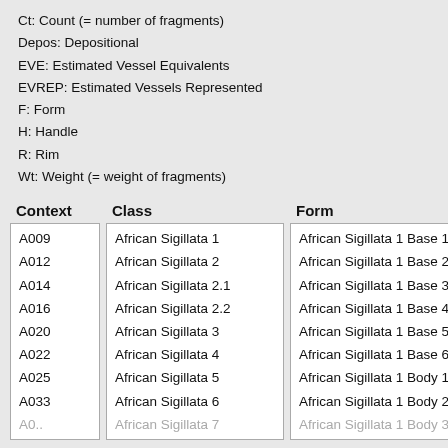Ct: Count (= number of fragments)
Depos: Depositional
EVE: Estimated Vessel Equivalents
EVREP: Estimated Vessels Represented
F: Form
H: Handle
R: Rim
Wt: Weight (= weight of fragments)
| Context | Class | Form |
| --- | --- | --- |
| A009 | African Sigillata 1 | African Sigillata 1 Base 1 |
| A012 | African Sigillata 2 | African Sigillata 1 Base 2 |
| A014 | African Sigillata 2.1 | African Sigillata 1 Base 3 |
| A016 | African Sigillata 2.2 | African Sigillata 1 Base 4 |
| A020 | African Sigillata 3 | African Sigillata 1 Base 5 |
| A022 | African Sigillata 4 | African Sigillata 1 Base 6 |
| A025 | African Sigillata 5 | African Sigillata 1 Body 1 |
| A033 | African Sigillata 6 | African Sigillata 1 Body 2 |
| A0.. | African Sigillata 7 | African Sigillata 1 Body 3 |
| Pottery Group | Context | Class | Form | Depos Status | R Ct | R EV |
| --- | --- | --- | --- | --- | --- | --- |
|  |  |  | (4) |  |  |  |